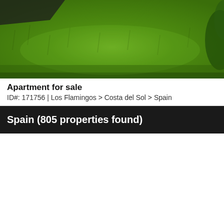[Figure (photo): Outdoor photo showing green grass lawn, with dark material and some foliage visible at edges]
Apartment for sale
ID#: 171756 | Los Flamingos > Costa del Sol > Spain
Spain (805 properties found)